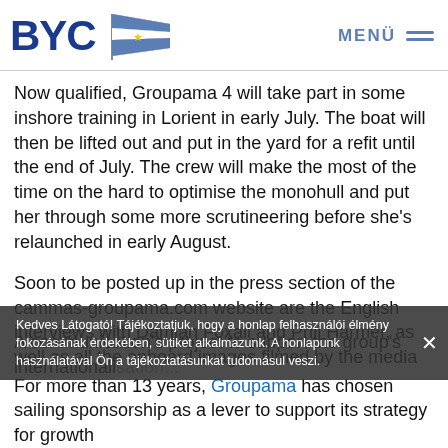BYC | MENÜ
Now qualified, Groupama 4 will take part in some inshore training in Lorient in early July. The boat will then be lifted out and put in the yard for a refit until the end of July. The crew will make the most of the time on the hard to optimise the monohull and put her through some more scrutineering before she's relaunched in early August.
Soon to be posted up in the press section of the cammas-groupama.com website are the English interviews with Damian Foxall and Phil Harmer, as well as all the onboard images filmed by the media man Yann Riou.
A communication's project to support the group's internationalisation...
For more than 13 years, Groupama has chosen sailing sponsorship as a lever to support its strategy for growth